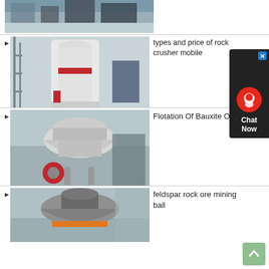[Figure (photo): Industrial machinery / crusher equipment in a factory warehouse, partial top crop]
[Figure (photo): White vertical grinding mill machine with red accent band in industrial facility]
types and price of rock crusher mobile
[Figure (photo): Large grey industrial cone crusher machine in factory setting]
Flotation Of Bauxite Ore
[Figure (photo): Grey and orange cone crusher machine in factory, bottom section visible]
feldspar rock ore mining ball